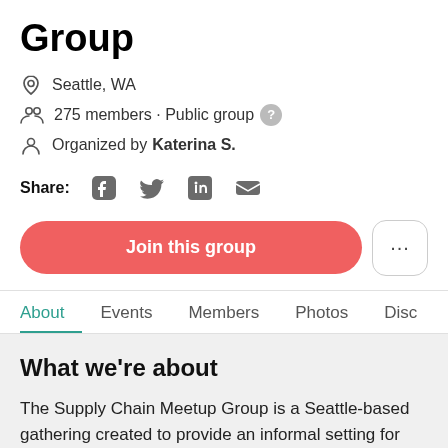Group
Seattle, WA
275 members · Public group
Organized by Katerina S.
Share:
Join this group
About   Events   Members   Photos   Disc
What we're about
The Supply Chain Meetup Group is a Seattle-based gathering created to provide an informal setting for networking and information sharing between existing or aspiring Supply Chain Professionals. Whether your